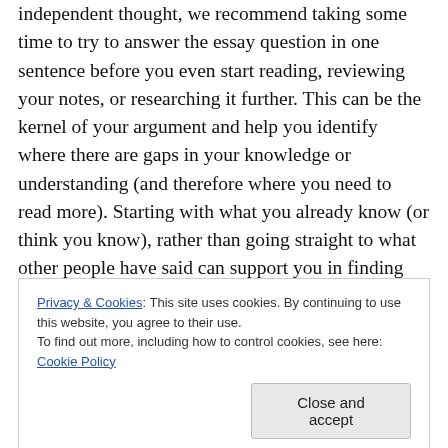independent thought, we recommend taking some time to try to answer the essay question in one sentence before you even start reading, reviewing your notes, or researching it further. This can be the kernel of your argument and help you identify where there are gaps in your knowledge or understanding (and therefore where you need to read more). Starting with what you already know (or think you know), rather than going straight to what other people have said can support you in finding your own voice. Once you have written a sentence in
Privacy & Cookies: This site uses cookies. By continuing to use this website, you agree to their use.
To find out more, including how to control cookies, see here: Cookie Policy
that is you run the risk of only reading texts that support or